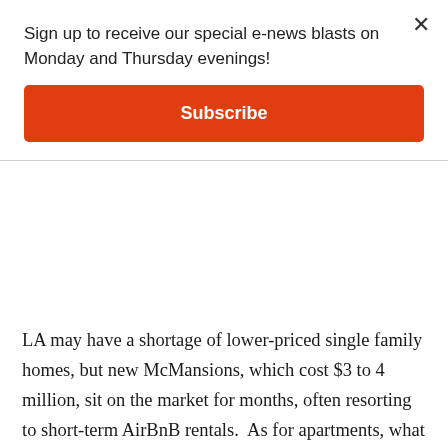Sign up to receive our special e-news blasts on Monday and Thursday evenings!
Subscribe
LA may have a shortage of lower-priced single family homes, but new McMansions, which cost $3 to 4 million, sit on the market for months, often resorting to short-term AirBnB rentals.  As for apartments, what the up-zoners call missing middle housing, there is no shortage.  For Rent signs are everywhere in LA as we enter the third year of recession and Pandemic.  For example, a recent LA Department of Housing and Community Investment research paper estimated that Los Angeles had 85,000 – 100,000 empty housing units, or more than twice the number of homeless people.  The highest vacancy rates